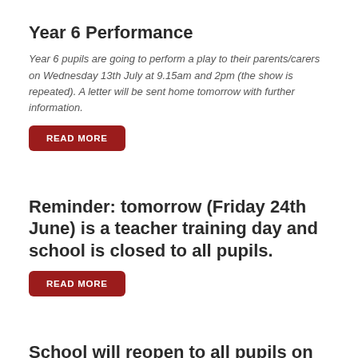Year 6 Performance
Year 6 pupils are going to perform a play to their parents/carers on Wednesday 13th July at 9.15am and 2pm (the show is repeated). A letter will be sent home tomorrow with further information.
READ MORE
Reminder: tomorrow (Friday 24th June) is a teacher training day and school is closed to all pupils.
READ MORE
School will reopen to all pupils on Monday 6th June. I wish all of our school community a happy and safe half term break.
READ MORE